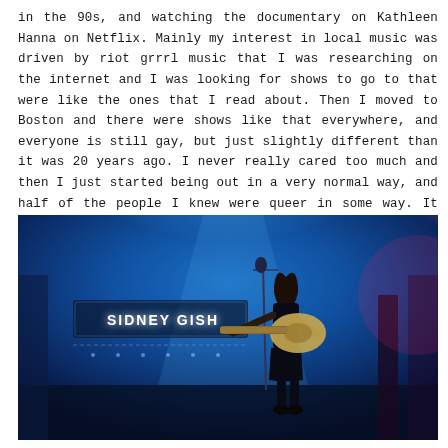in the 90s, and watching the documentary on Kathleen Hanna on Netflix. Mainly my interest in local music was driven by riot grrrl music that I was researching on the internet and I was looking for shows to go to that were like the ones that I read about. Then I moved to Boston and there were shows like that everywhere, and everyone is still gay, but just slightly different than it was 20 years ago. I never really cared too much and then I just started being out in a very normal way, and half of the people I knew were queer in some way. It was very normal. It was never really dramatic in any way for me. I'm lucky that I had that experience.
[Figure (photo): Concert photo of a female performer playing electric guitar on stage under blue stage lighting. A sign in the background reads 'SIDNEY GISH'. The performer is wearing a dark outfit and playing a light-colored electric guitar into a microphone.]